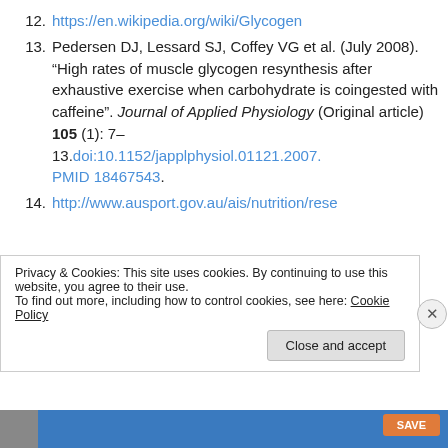12. https://en.wikipedia.org/wiki/Glycogen
13. Pedersen DJ, Lessard SJ, Coffey VG et al. (July 2008). “High rates of muscle glycogen resynthesis after exhaustive exercise when carbohydrate is coingested with caffeine”. Journal of Applied Physiology (Original article) 105 (1): 7–13.doi:10.1152/japplphysiol.01121.2007. PMID 18467543.
14. http://www.ausport.gov.au/ais/nutrition/rese
Privacy & Cookies: This site uses cookies. By continuing to use this website, you agree to their use.
To find out more, including how to control cookies, see here: Cookie Policy
Close and accept